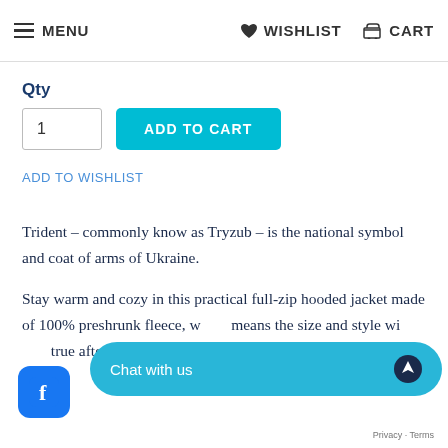MENU  WISHLIST  CART
Qty
1
ADD TO CART
ADD TO WISHLIST
Trident - commonly know as Tryzub - is the national symbol and coat of arms of Ukraine.
Stay warm and cozy in this practical full-zip hooded jacket made of 100% preshrunk fleece, which means the size and style will stay true after laundering.